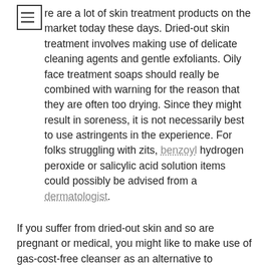There are a lot of skin treatment products on the market today these days. Dried-out skin treatment involves making use of delicate cleaning agents and gentle exfoliants. Oily face treatment soaps should really be combined with warning for the reason that they are often too drying. Since they might result in soreness, it is not necessarily best to use astringents in the experience. For folks struggling with zits, benzoyl hydrogen peroxide or salicylic acid solution items could possibly be advised from a dermatologist.
If you suffer from dried-out skin and so are pregnant or medical, you might like to make use of gas-cost-free cleanser as an alternative to cleaning soap and you ought to start using a direct sun light-display screen which has a significant SPF issue. You may also require to use a air humidifier throughout hot weather. For anybody who is attempting to take out dark spots and various other telltale signs of aging, most of these tips is not going to work nicely. This is why, it could be vital to consult with a dermatologist, who are able to suggest a beauty